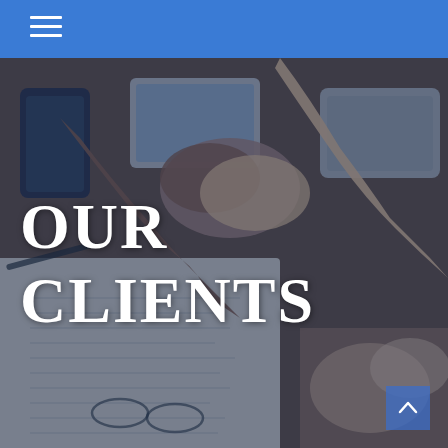Navigation header with hamburger menu icon
[Figure (photo): Business handshake over a desk with documents, glasses, phones, and hands clasped — overhead view with blue overlay tint]
OUR CLIENTS